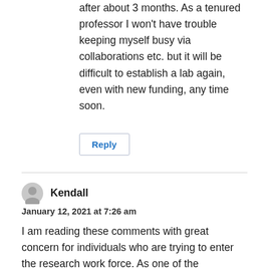after about 3 months. As a tenured professor I won't have trouble keeping myself busy via collaborations etc. but it will be difficult to establish a lab again, even with new funding, any time soon.
Reply
Kendall
January 12, 2021 at 7:26 am
I am reading these comments with great concern for individuals who are trying to enter the research work force. As one of the comments pointed out a single reviewer can always prevent side of the funding even f